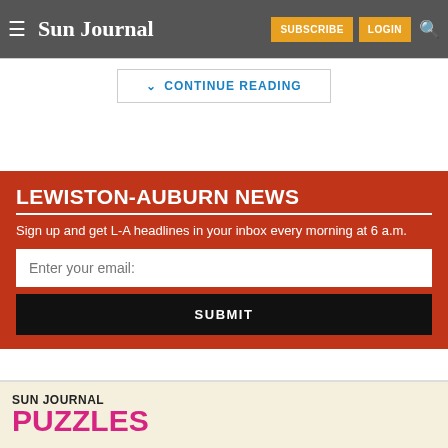Sun Journal
CONTINUE READING
LEWISTON-AUBURN NEWS
Sign up and get L-A headlines in your inbox every morning at 6 a.m.
Enter your email:
SUBMIT
[Figure (screenshot): Sun Journal Puzzles advertisement banner at the bottom of the page]